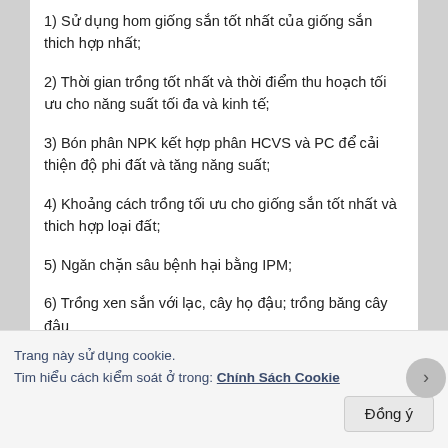1) Sử dụng hom giống sắn tốt nhất của giống sắn thich hợp nhất;
2) Thời gian trồng tốt nhất và thời điểm thu hoạch tối ưu cho năng suất tối đa và kinh tế;
3) Bón phân NPK kết hợp phân HCVS và PC để cải thiện độ phi đất và tăng năng suất;
4) Khoảng cách trồng tối ưu cho giống sắn tốt nhất và thich hợp loại đất;
5) Ngăn chặn sâu bệnh hại bằng IPM;
6) Trồng xen sắn với lạc, cây họ đậu; trồng băng cây đậu
Trang này sử dụng cookie.
Tim hiểu cách kiểm soát ở trong: Chính Sách Cookie